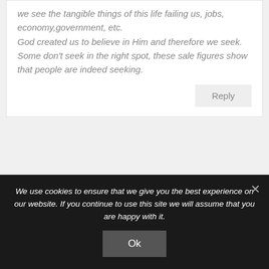we see the tangible things of this life failing us, jobs, economy,government, etc. God created us to believe in Him and therefore we seek. Some don't seek in the right spot, these sale figures show that people are indeed seeking.
Reply
[Figure (illustration): Circular avatar placeholder graphic in gray]
Rick Barry
We use cookies to ensure that we give you the best experience on our website. If you continue to use this site we will assume that you are happy with it.
Ok